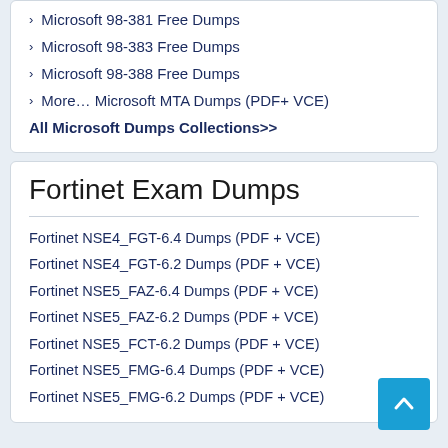Microsoft 98-381 Free Dumps
Microsoft 98-383 Free Dumps
Microsoft 98-388 Free Dumps
More… Microsoft MTA Dumps (PDF+ VCE)
All Microsoft Dumps Collections>>
Fortinet Exam Dumps
Fortinet NSE4_FGT-6.4 Dumps (PDF + VCE)
Fortinet NSE4_FGT-6.2 Dumps (PDF + VCE)
Fortinet NSE5_FAZ-6.4 Dumps (PDF + VCE)
Fortinet NSE5_FAZ-6.2 Dumps (PDF + VCE)
Fortinet NSE5_FCT-6.2 Dumps (PDF + VCE)
Fortinet NSE5_FMG-6.4 Dumps (PDF + VCE)
Fortinet NSE5_FMG-6.2 Dumps (PDF + VCE)